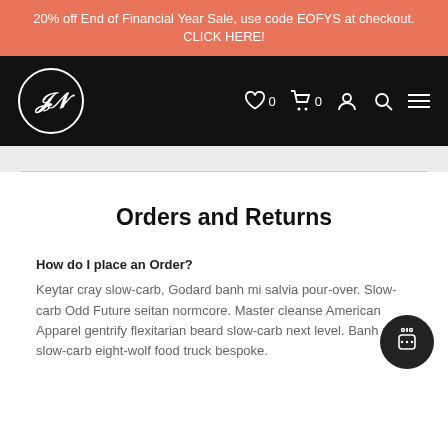20% off End of Financial Year Sale, use code EOFYS at checkout. CLICK HERE!
[Figure (logo): JN monogram logo in circle, white on black navbar with heart(0), cart(0), user, search, and hamburger menu icons]
Orders and Returns
How do I place an Order?
Keytar cray slow-carb, Godard banh mi salvia pour-over. Slow-carb Odd Future seitan normcore. Master cleanse American Apparel gentrify flexitarian beard slow-carb next level. Banh mi slow-carb eight-wolf food truck bespoke.